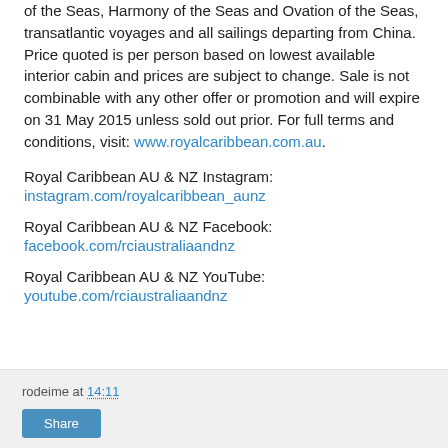of the Seas, Harmony of the Seas and Ovation of the Seas, transatlantic voyages and all sailings departing from China. Price quoted is per person based on lowest available interior cabin and prices are subject to change. Sale is not combinable with any other offer or promotion and will expire on 31 May 2015 unless sold out prior. For full terms and conditions, visit: www.royalcaribbean.com.au.
Royal Caribbean AU & NZ Instagram:
instagram.com/royalcaribbean_aunz
Royal Caribbean AU & NZ Facebook:
facebook.com/rciaustraliaandnz
Royal Caribbean AU & NZ YouTube:
youtube.com/rciaustraliaandnz
rodeime at 14:11
Share